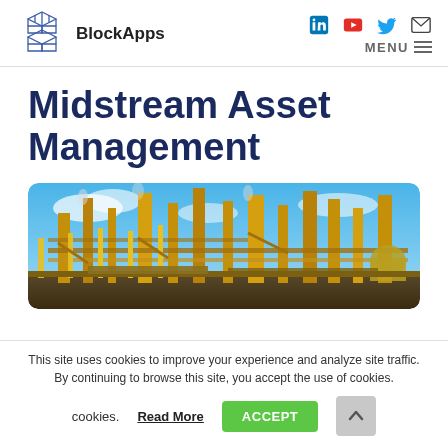BlockApps | MENU
Midstream Asset Management
[Figure (photo): Industrial midstream oil and gas facility with pipes, towers, and processing equipment at dusk with blue sky.]
This site uses cookies to improve your experience and analyze site traffic. By continuing to browse this site, you accept the use of cookies. Read More ACCEPT